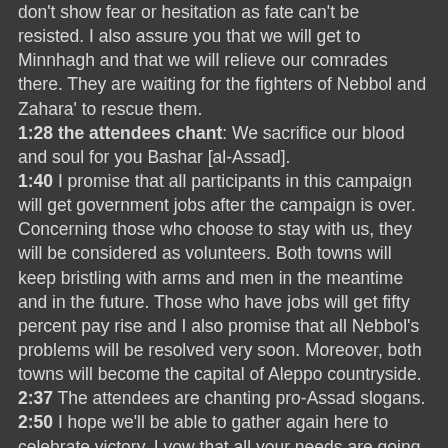don't show fear or hesitation as fate can't be resisted. I also assure you that we will get to Minnhagh and that we will relieve our comrades there. They are waiting for the fighters of Nebbol and Zahara' to rescue them.
1:28 the attendees chant: We sacrifice our blood and soul for you Bashar [al-Assad].
1:40 I promise that all participants in this campaign will get government jobs after the campaign is over. Concerning those who choose to stay with us, they will be considered as volunteers. Both towns will keep bristling with arms and men in the meantime and in the future. Those who have jobs will get fifty percent pay rise and I also promise that all Nebbol's problems will be resolved very soon. Moreover, both towns will become the capital of Aleppo countryside.
2:37 The attendees are chanting pro-Assad slogans.
2:50 I hope we'll be able to gather again here to celebrate victory. I vow that all your needs are going to be met. First of all, we need to organize